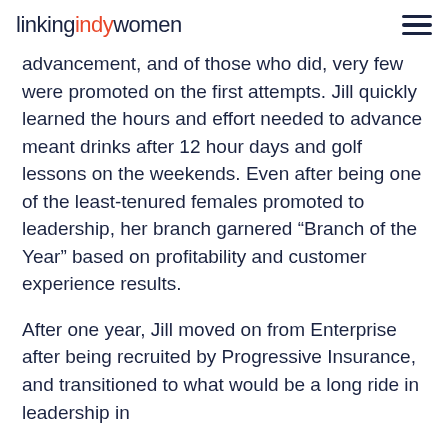linkingindywomen
advancement, and of those who did, very few were promoted on the first attempts. Jill quickly learned the hours and effort needed to advance meant drinks after 12 hour days and golf lessons on the weekends. Even after being one of the least-tenured females promoted to leadership, her branch garnered “Branch of the Year” based on profitability and customer experience results.
After one year, Jill moved on from Enterprise after being recruited by Progressive Insurance, and transitioned to what would be a long ride in leadership in